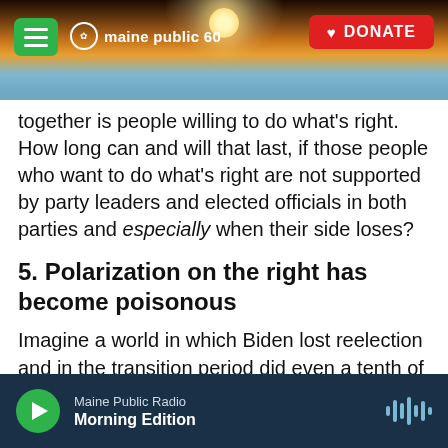maine public 60 | DONATE
together is people willing to do what's right. How long can and will that last, if those people who want to do what's right are not supported by party leaders and elected officials in both parties and especially when their side loses?
5. Polarization on the right has become poisonous
Imagine a world in which Biden lost reelection and in the transition period did even a tenth of what witnesses are saying Trump did — the phone calls, the arm-twisting, the denial of reality, the
Maine Public Radio | Morning Edition